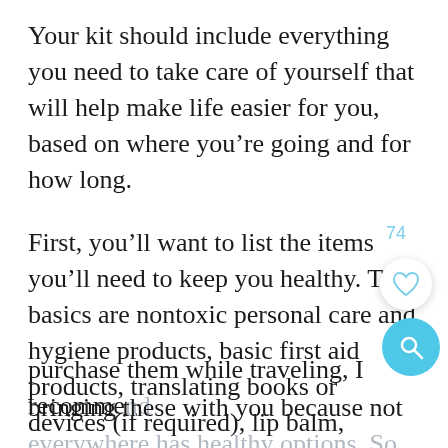Your kit should include everything you need to take care of yourself that will help make life easier for you, based on where you're going and for how long.
First, you'll want to list the items you'll need to keep you healthy. The basics are nontoxic personal care and hygiene products, basic first aid products, translating books or devices (if required), lip balm, sunscreen, insect repellent, supplements, and any medication you may need. Even if you could purchase them while traveling, I recommend bringing these with you because not everywhere has healthy options. So many standard store-bought products contain